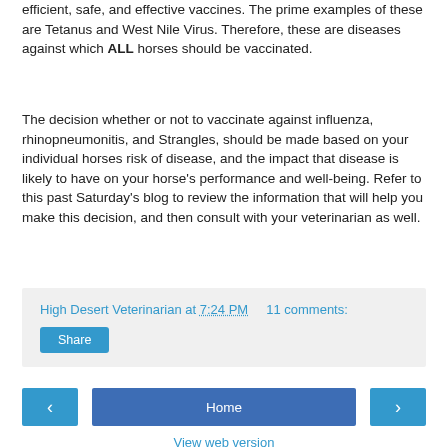efficient, safe, and effective vaccines.  The prime examples of these are Tetanus and West Nile Virus.  Therefore, these are diseases against which ALL horses should be vaccinated.
The decision whether or not to vaccinate against influenza, rhinopneumonitis, and Strangles, should be made based on your individual horses risk of disease, and the impact that disease is likely to have on your horse's performance and well-being.  Refer to this past Saturday's blog to review the information that will help you make this decision, and then consult with your veterinarian as well.
High Desert Veterinarian at 7:24 PM    11 comments:
Share
Home
View web version